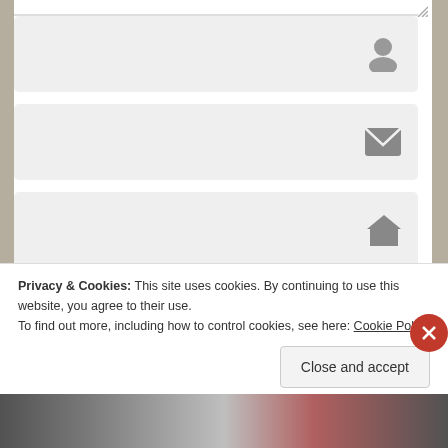[Figure (screenshot): Comment form with three input fields (name, email, website), a Post Comment button, and a Notify me checkbox. Below is a cookie consent banner with a Cookie Policy link and a Close and accept button.]
Notify me of new comments via email.
Privacy & Cookies: This site uses cookies. By continuing to use this website, you agree to their use.
To find out more, including how to control cookies, see here: Cookie Policy
Close and accept